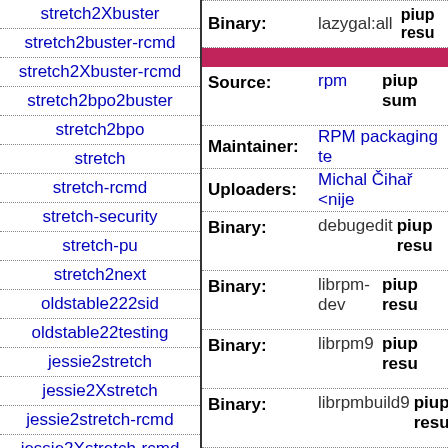stretch2Xbuster
stretch2buster-rcmd
stretch2Xbuster-rcmd
stretch2bpo2buster
stretch2bpo
stretch
stretch-rcmd
stretch-security
stretch-pu
stretch2next
oldstable222sid
oldstable22testing
jessie2stretch
jessie2Xstretch
jessie2stretch-rcmd
jessie2Xstretch-rcmd
jessie-lts2stretch
jessie2bpo2stretch
| Field | Value | Extra |
| --- | --- | --- |
| Binary: | lazygal:all | piup
resu |
| Source: | rpm | piup
sum |
| Maintainer: | RPM packaging te |  |
| Uploaders: | Michal Čihař <nije |  |
| Binary: | debugedit | piup
resu |
| Binary: | librpm-dev | piup
resu |
| Binary: | librpm9 | piup
resu |
| Binary: | librpmbuild9 | piup
resu |